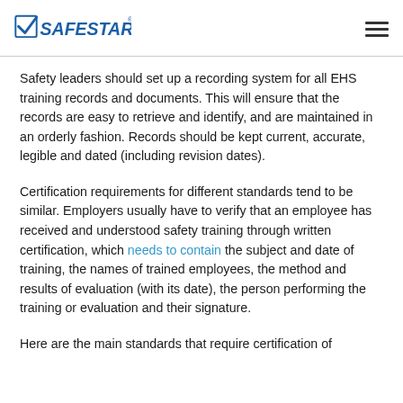SAFESTART
Safety leaders should set up a recording system for all EHS training records and documents. This will ensure that the records are easy to retrieve and identify, and are maintained in an orderly fashion. Records should be kept current, accurate, legible and dated (including revision dates).
Certification requirements for different standards tend to be similar. Employers usually have to verify that an employee has received and understood safety training through written certification, which needs to contain the subject and date of training, the names of trained employees, the method and results of evaluation (with its date), the person performing the training or evaluation and their signature.
Here are the main standards that require certification of